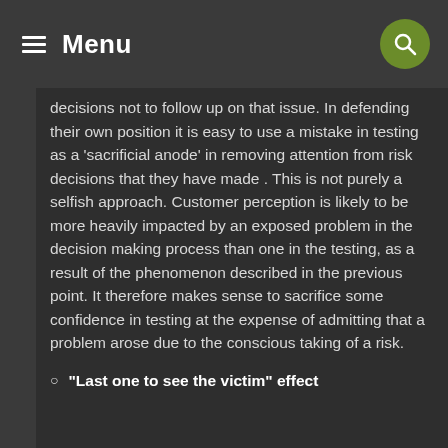Menu
decisions not to follow up on that issue. In defending their own position it is easy to use a mistake in testing as a 'sacrificial anode' in removing attention from risk decisions that they have made . This is not purely a selfish approach. Customer perception is likely to be more heavily impacted by an exposed problem in the decision making process than one in the testing, as a result of the phenomenon described in the previous point. It therefore makes sense to sacrifice some confidence in testing at the expense of admitting that a problem arose due to the conscious taking of a risk.
"Last one to see the victim" effect